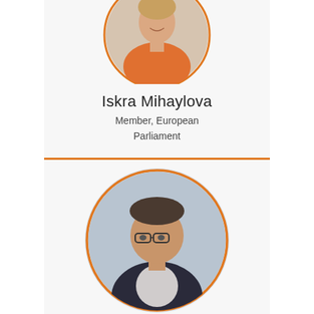[Figure (photo): Circular portrait photo of Iskra Mihaylova, a woman wearing an orange/coral jacket, partially cropped at top]
Iskra Mihaylova
Member, European Parliament
[Figure (photo): Circular portrait photo of Karl Tombre, a man wearing glasses and a dark suit with light shirt]
Karl Tombre
Member, Innovation Ecosystems Expert Group,